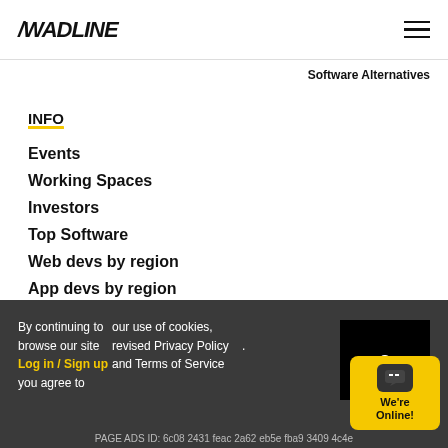/WADLINE
Software Alternatives
INFO
Events
Working Spaces
Investors
Top Software
Web devs by region
App devs by region
Software devs by region
By continuing to browse our site you agree to our use of cookies, revised Privacy Policy and Terms of Service
Log in / Sign up
G
We're Online!
PAGE ADS ID: 6c08 2431 feac 2a62 eb5e fba9 3409 4c4e